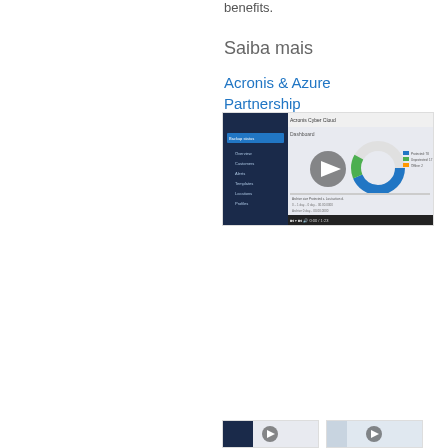benefits.
Saiba mais
Acronis & Azure Partnership
[Figure (screenshot): Video thumbnail showing Acronis Cyber Cloud dashboard interface with a play button overlay, featuring a dark sidebar navigation and a donut chart on the right side]
[Figure (screenshot): Small video thumbnail on the left, partially visible]
[Figure (screenshot): Small video thumbnail on the right, partially visible]